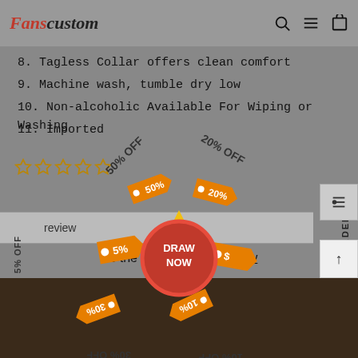Fanscustom
8. Tagless Collar offers clean comfort
9. Machine wash, tumble dry low
10. Non-alcoholic Available For Wiping or Washing
11. Imported
[Figure (infographic): Spinning coupon wheel overlay with discount tags: 50% OFF, 20% OFF, 5% OFF, 10% OFF, 30% OFF, and a dollar sign coupon. Center red circle says DRAW NOW. Gold arrow points up at center.]
Be the first to write a review
FREE ORDER
5% OFF